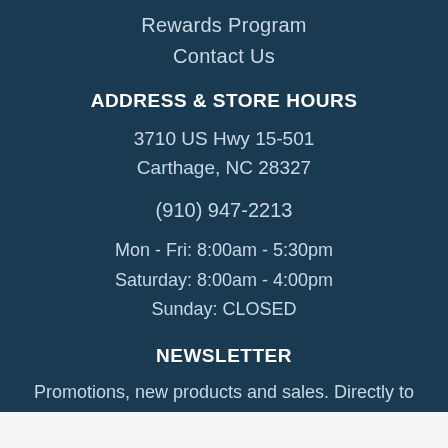Rewards Program
Contact Us
ADDRESS & STORE HOURS
3710 US Hwy 15-501
Carthage, NC 28327
(910) 947-2213
Mon - Fri: 8:00am - 5:30pm
Saturday: 8:00am - 4:00pm
Sunday: CLOSED
NEWSLETTER
Promotions, new products and sales. Directly to your inbox.